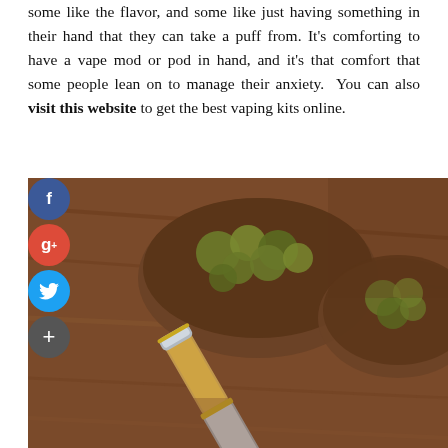some like the flavor, and some like just having something in their hand that they can take a puff from. It's comforting to have a vape mod or pod in hand, and it's that comfort that some people lean on to manage their anxiety.  You can also visit this website to get the best vaping kits online.
[Figure (photo): Photo of a cannabis vape pen cartridge lying on a wooden surface next to two small wooden bowls filled with cannabis buds, shot at shallow depth of field.]